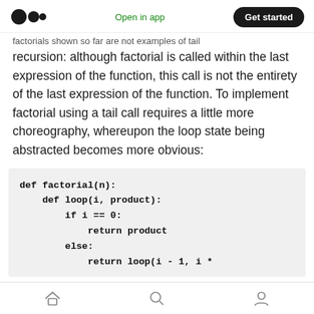Open in app | Get started
factorials shown so far are not examples of tail recursion: although factorial is called within the last expression of the function, this call is not the entirety of the last expression of the function. To implement factorial using a tail call requires a little more choreography, whereupon the loop state being abstracted becomes more obvious:
Home | Search | Profile